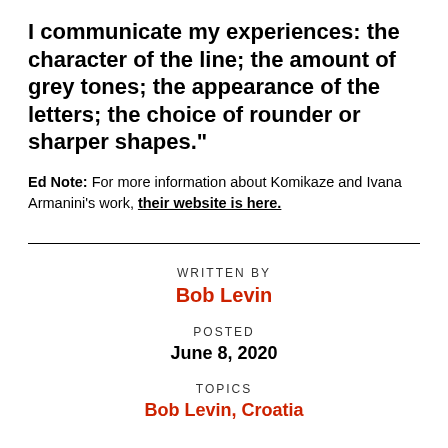I communicate my experiences: the character of the line; the amount of grey tones; the appearance of the letters; the choice of rounder or sharper shapes.”
Ed Note: For more information about Komikaze and Ivana Armanini’s work, their website is here.
WRITTEN BY
Bob Levin
POSTED
June 8, 2020
TOPICS
Bob Levin, Croatia